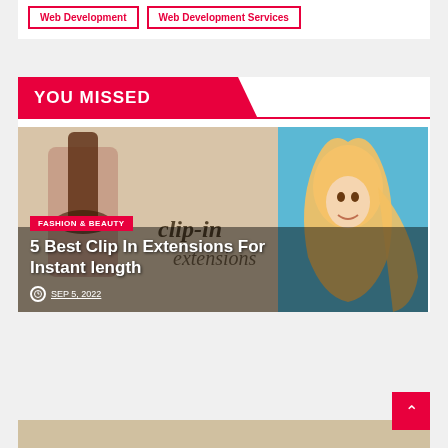Web Development
Web Development Services
YOU MISSED
[Figure (photo): Woman with long blonde hair smiling, holding clip-in hair extensions against a blue background. Text overlay reads 'clip-in extensions' in script font.]
FASHION & BEAUTY
5 Best Clip In Extensions For Instant length
SEP 5, 2022